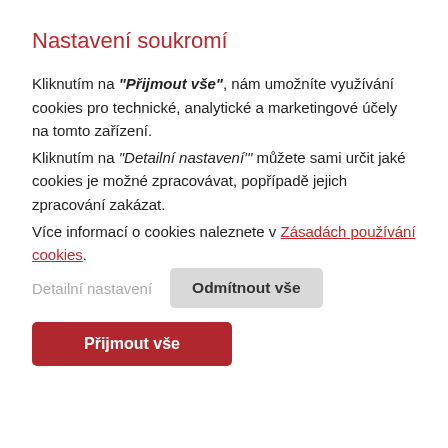Nastavení soukromí
Kliknutím na "Přijmout vše", nám umožníte využívání cookies pro technické, analytické a marketingové účely na tomto zařízení.
Kliknutím na "Detailní nastavení'" můžete sami určit jaké cookies je možné zpracovávat, popřípadě jejich zpracování zakázat.
Více informací o cookies naleznete v Zásadách používání cookies.
Detailní nastavení
Odmítnout vše
Přijmout vše